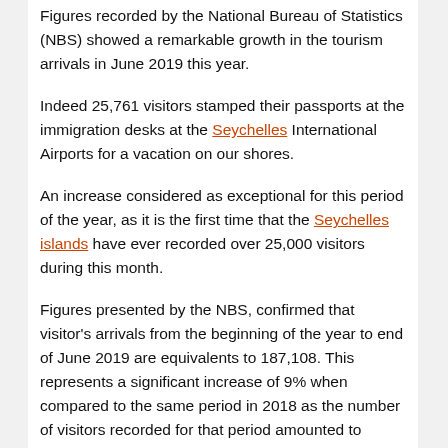Figures recorded by the National Bureau of Statistics (NBS) showed a remarkable growth in the tourism arrivals in June 2019 this year.
Indeed 25,761 visitors stamped their passports at the immigration desks at the Seychelles International Airports for a vacation on our shores.
An increase considered as exceptional for this period of the year, as it is the first time that the Seychelles islands have ever recorded over 25,000 visitors during this month.
Figures presented by the NBS, confirmed that visitor's arrivals from the beginning of the year to end of June 2019 are equivalents to 187,108. This represents a significant increase of 9% when compared to the same period in 2018 as the number of visitors recorded for that period amounted to 172,099 visitors.
Germany remains at the top of the best five performing